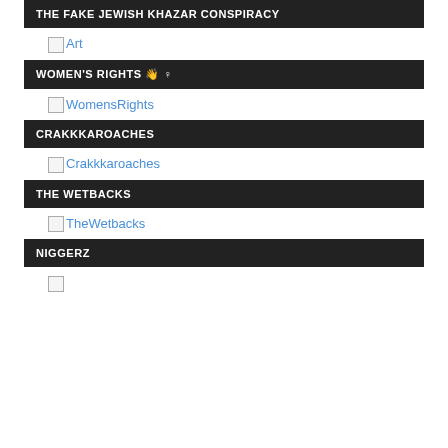THE FAKE JEWISH KHAZAR CONSPIRACY
[Figure (other): Broken image placeholder labeled 'Art']
WOMEN'S RIGHTS 👋♀
[Figure (other): Broken image placeholder labeled 'WomensRights']
CRAKKKAROACHES
[Figure (other): Broken image placeholder labeled 'Crakkkaroaches']
THE WETBACKS
[Figure (other): Broken image placeholder labeled 'TheWetbacks']
NIGGERZ